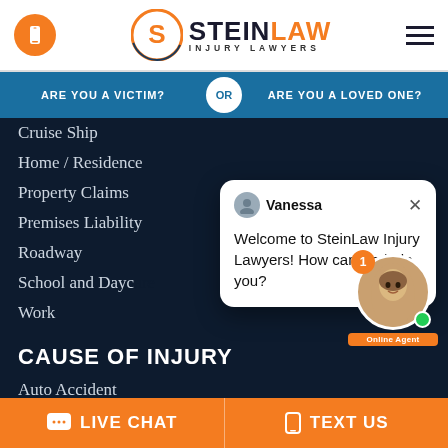[Figure (logo): SteinLaw Injury Lawyers logo with orange S circle and bold STEIN LAW text]
[Figure (screenshot): Navigation bar with ARE YOU A VICTIM? OR ARE YOU A LOVED ONE?]
Cruise Ship
Home / Residence
Property Claims
Premises Liability
Roadway
School and Daycare
Work
[Figure (screenshot): Chat popup from Vanessa saying Welcome to SteinLaw Injury Lawyers! How can we help you?]
CAUSE OF INJURY
Auto Accident
[Figure (photo): Online agent chat widget with female agent photo, badge showing 1 notification, and Online Agent label]
LIVE CHAT   TEXT US